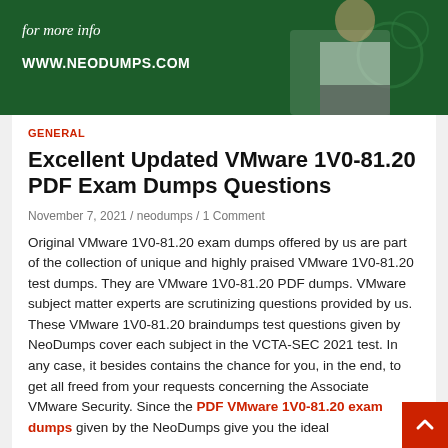[Figure (photo): Dark green banner with italic text 'for more info', bold URL 'WWW.NEODUMPS.COM', and a person in white shirt with arms crossed on the right side]
GENERAL
Excellent Updated VMware 1V0-81.20 PDF Exam Dumps Questions
November 7, 2021 / neodumps / 1 Comment
Original VMware 1V0-81.20 exam dumps offered by us are part of the collection of unique and highly praised VMware 1V0-81.20 test dumps. They are VMware 1V0-81.20 PDF dumps. VMware subject matter experts are scrutinizing questions provided by us. These VMware 1V0-81.20 braindumps test questions given by NeoDumps cover each subject in the VCTA-SEC 2021 test. In any case, it besides contains the chance for you, in the end, to get all freed from your requests concerning the Associate VMware Security. Since the PDF VMware 1V0-81.20 exam dumps given by the NeoDumps give you the ideal